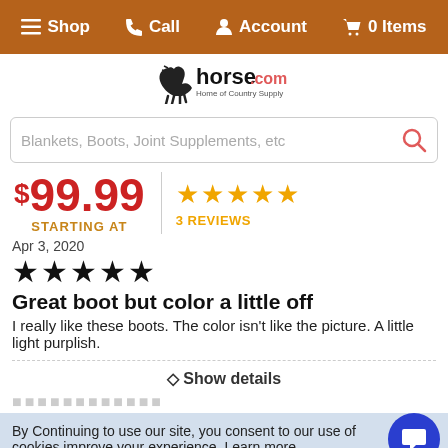☰ Shop  ☎ Call  👤 Account  🛒 0 Items
[Figure (logo): horse.com - Home of Country Supply logo with horse silhouette]
Blankets, Boots, Joint Supplements, etc (search bar)
$99.99 STARTING AT | ★★★★★ 3 REVIEWS
Apr 3, 2020
★★★★★
Great boot but color a little off
I really like these boots. The color isn't like the picture. A little light purplish.
⬦ Show details
By Continuing to use our site, you consent to our use of cookies improve your experience. Learn more
- 1 + Add to Cart ▲